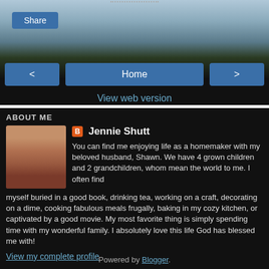[Figure (photo): Road vanishing into the distance with sky and landscape background]
Share
< Home >
View web version
ABOUT ME
[Figure (photo): Profile photo of Jennie Shutt]
Jennie Shutt
You can find me enjoying life as a homemaker with my beloved husband, Shawn. We have 4 grown children and 2 grandchildren, whom mean the world to me. I often find myself buried in a good book, drinking tea, working on a craft, decorating on a dime, cooking fabulous meals frugally, baking in my cozy kitchen, or captivated by a good movie. My most favorite thing is simply spending time with my wonderful family. I absolutely love this life God has blessed me with!
View my complete profile
Powered by Blogger.